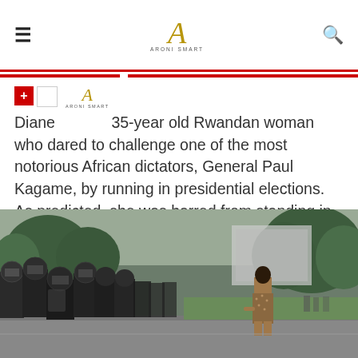Aroni Smart — navigation bar with hamburger menu, logo, and search icon
Diane — 35-year old Rwandan woman who dared to challenge one of the most notorious African dictators, General Paul Kagame, by running in presidential elections. As predicted, she was barred from standing in the elections. That was not the end of it.
READ MORE ...
[Figure (photo): A woman in a floral/patterned dress standing calmly facing a line of riot police in full gear on a street, with trees and buildings in the background.]